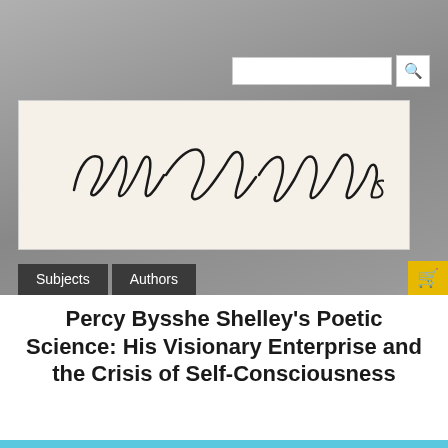[Figure (logo): Edwin Mellen Press cursive signature logo on cream background]
Subjects
Authors
Percy Bysshe Shelley's Poetic Science: His Visionary Enterprise and the Crisis of Self-Consciousness